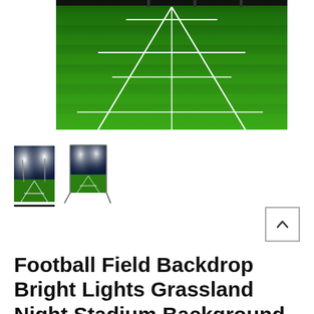[Figure (photo): Aerial view of a green football/soccer field with white yard lines, taken from ground level looking down the field under bright lights at night.]
[Figure (photo): Thumbnail 1: Football field with bright stadium lights at night, ground-level view.]
[Figure (photo): Thumbnail 2: Football field backdrop shown on a stand/display frame with bright stadium lights.]
Football Field Backdrop Bright Lights Grassland Night Stadium Background